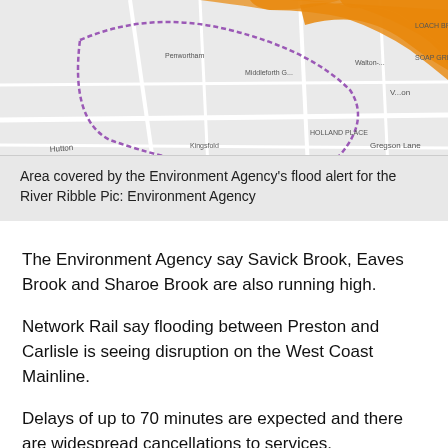[Figure (map): A street map showing an orange highlighted area indicating the Environment Agency's flood alert zone for the River Ribble. Roads, place names including Penwortham, Walton, Hutton, Kingsfold are visible.]
Area covered by the Environment Agency's flood alert for the River Ribble Pic: Environment Agency
The Environment Agency say Savick Brook, Eaves Brook and Sharoe Brook are also running high.
Network Rail say flooding between Preston and Carlisle is seeing disruption on the West Coast Mainline.
Delays of up to 70 minutes are expected and there are widespread cancellations to services.
The Met Office has a yellow weather warning, their lowest level, in force for Preston and Lancashire until Monday morning – warning of heavy rain and strong